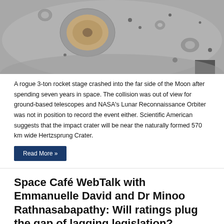[Figure (photo): Aerial or orbital photograph of the Moon's surface showing craters, including a prominent crater with a raised center and dark spots scattered across the grey lunar terrain.]
A rogue 3-ton rocket stage crashed into the far side of the Moon after spending seven years in space. The collision was out of view for ground-based telescopes and NASA's Lunar Reconnaissance Orbiter was not in position to record the event either. Scientific American suggests that the impact crater will be near the naturally formed 570 km wide Hertzsprung Crater.
Read More »
Space Café WebTalk with Emmanuelle David and Dr Minoo Rathnasabapathy: Will ratings plug the gap of lagging legislation?
Torsten Kriening   March 3, 2022
Entrepreneurship, Europe, Events, News, North America, Policy and Law, Region, Space, Space Cafe, Space Sustainability, WebTalk Archive